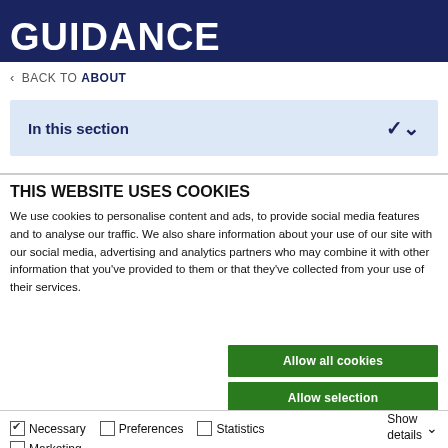GUIDANCE
< BACK TO ABOUT
In this section
THIS WEBSITE USES COOKIES
We use cookies to personalise content and ads, to provide social media features and to analyse our traffic. We also share information about your use of our site with our social media, advertising and analytics partners who may combine it with other information that you've provided to them or that they've collected from your use of their services.
Allow all cookies
Allow selection
Use necessary cookies only
Necessary  Preferences  Statistics  Marketing  Show details